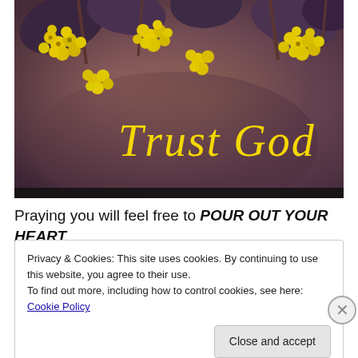[Figure (photo): Close-up photograph of yellow flowers (possibly barberry or forsythia) with dark reddish-purple leaves, on a blurred warm background. Text 'Trust God' overlaid in large italic yellow serif font.]
Praying you will feel free to POUR OUT YOUR HEART
Privacy & Cookies: This site uses cookies. By continuing to use this website, you agree to their use.
To find out more, including how to control cookies, see here: Cookie Policy
Close and accept